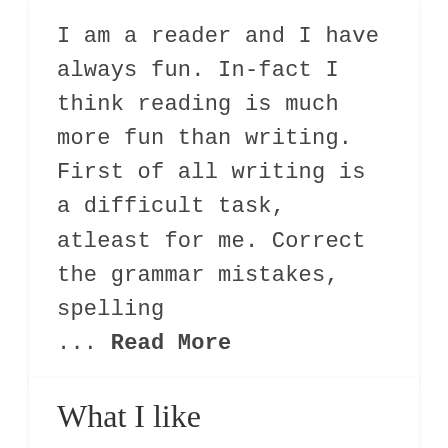I am a reader and I have always fun. In-fact I think reading is much more fun than writing. First of all writing is a difficult task, atleast for me. Correct the grammar mistakes, spelling ... Read More
What I like